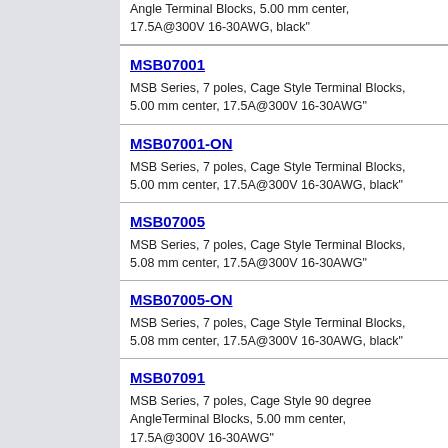Angle Terminal Blocks, 5.00 mm center, 17.5A@300V 16-30AWG, black"
MSB07001
MSB Series, 7 poles, Cage Style Terminal Blocks, 5.00 mm center, 17.5A@300V 16-30AWG"
MSB07001-ON
MSB Series, 7 poles, Cage Style Terminal Blocks, 5.00 mm center, 17.5A@300V 16-30AWG, black"
MSB07005
MSB Series, 7 poles, Cage Style Terminal Blocks, 5.08 mm center, 17.5A@300V 16-30AWG"
MSB07005-ON
MSB Series, 7 poles, Cage Style Terminal Blocks, 5.08 mm center, 17.5A@300V 16-30AWG, black"
MSB07091
MSB Series, 7 poles, Cage Style 90 degree AngleTerminal Blocks, 5.00 mm center, 17.5A@300V 16-30AWG"